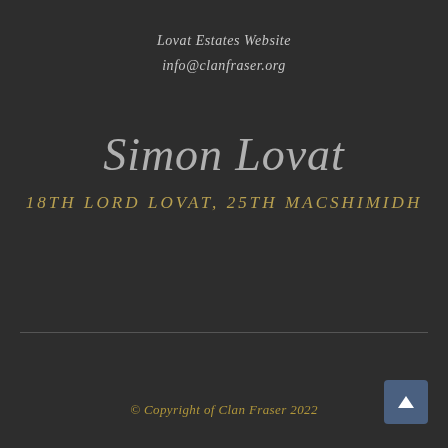Lovat Estates Website
info@clanfraser.org
Simon Lovat
18TH LORD LOVAT, 25TH MACSHIMIDH
© Copyright of Clan Fraser 2022